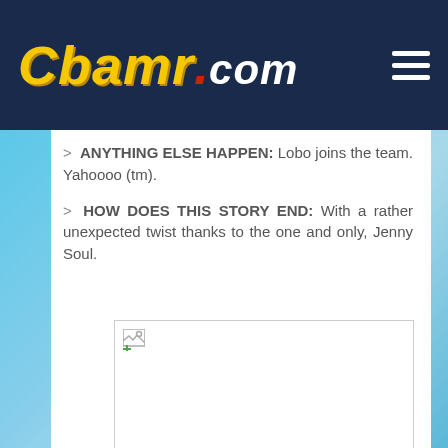CBAMR.COM
> ANYTHING ELSE HAPPEN: Lobo joins the team. Yahoooo (tm).
> HOW DOES THIS STORY END: With a rather unexpected twist thanks to the one and only, Jenny Soul.
[Figure (photo): Image placeholder (broken/missing image) shown as a white rectangle with a broken image icon in the top-left corner.]